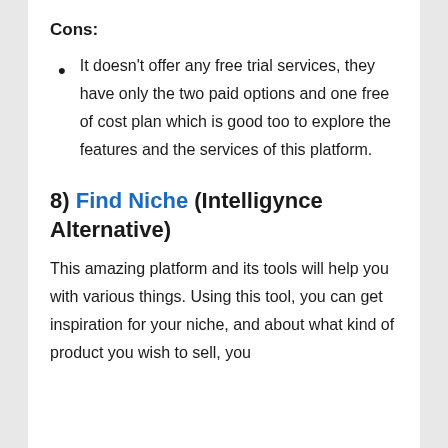Cons:
It doesn't offer any free trial services, they have only the two paid options and one free of cost plan which is good too to explore the features and the services of this platform.
8) Find Niche (Intelligynce Alternative)
This amazing platform and its tools will help you with various things. Using this tool, you can get inspiration for your niche, and about what kind of product you wish to sell, you